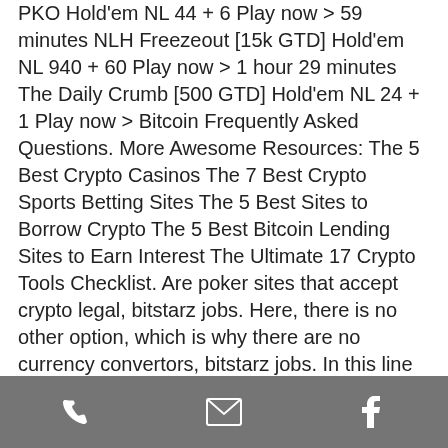PKO Hold'em NL 44 + 6 Play now > 59 minutes NLH Freezeout [15k GTD] Hold'em NL 940 + 60 Play now > 1 hour 29 minutes The Daily Crumb [500 GTD] Hold'em NL 24 + 1 Play now > Bitcoin Frequently Asked Questions. More Awesome Resources: The 5 Best Crypto Casinos The 7 Best Crypto Sports Betting Sites The 5 Best Sites to Borrow Crypto The 5 Best Bitcoin Lending Sites to Earn Interest The Ultimate 17 Crypto Tools Checklist. Are poker sites that accept crypto legal, bitstarz jobs. Here, there is no other option, which is why there are no currency convertors, bitstarz jobs. In this line of thought, there is not fee for conversion as well. Gibraltar Gambling Authority and UK Gambling Commission. Texas Hold'em, Omaha, Stud, bitstarz 20 tours gratuits. The only downside to playing with Bitcoin is that
phone | email | facebook